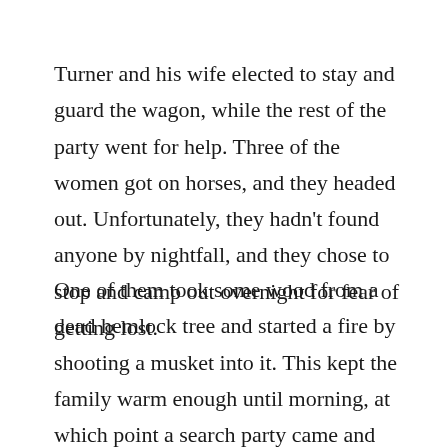Turner and his wife elected to stay and guard the wagon, while the rest of the party went for help. Three of the women got on horses, and they headed out. Unfortunately, they hadn't found anyone by nightfall, and they chose to stop and camp out overnight for fear of getting lost.
One of them took some wood from a dead hemlock tree and started a fire by shooting a musket into it. This kept the family warm enough until morning, at which point a search party came and rescued them.